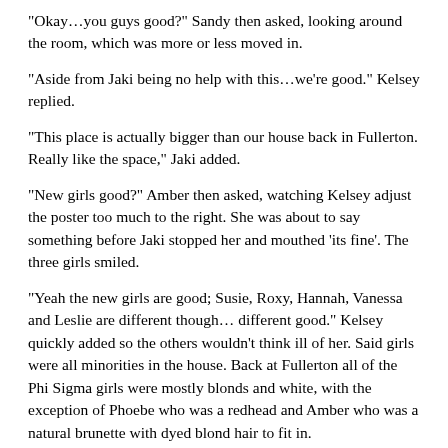“Okay…you guys good?” Sandy then asked, looking around the room, which was more or less moved in.
“Aside from Jaki being no help with this…we’re good.” Kelsey replied.
“This place is actually bigger than our house back in Fullerton. Really like the space,” Jaki added.
“New girls good?” Amber then asked, watching Kelsey adjust the poster too much to the right. She was about to say something before Jaki stopped her and mouthed ‘its fine’. The three girls smiled.
“Yeah the new girls are good; Susie, Roxy, Hannah, Vanessa and Leslie are different though… different good.” Kelsey quickly added so the others wouldn’t think ill of her. Said girls were all minorities in the house. Back at Fullerton all of the Phi Sigma girls were mostly blonds and white, with the exception of Phoebe who was a redhead and Amber who was a natural brunette with dyed blond hair to fit in.
Susie Kim and Hannah Kai were both Asian, being Korean and Chinese respectively. Leslie Chun was Eurasian, but looked more Asian than her other parent with the exception of her dirty blond hair. Roxy or Roxana Ruiz was the only Hispanic in the house.